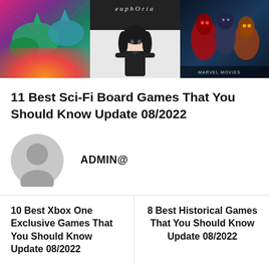[Figure (photo): Three board game cover images side by side: a colorful sci-fi dinosaur illustration, an anime-style euphoria manga cover, and a dark superhero/Marvel-style cover.]
11 Best Sci-Fi Board Games That You Should Know Update 08/2022
ADMIN@
10 Best Xbox One Exclusive Games That You Should Know Update 08/2022
8 Best Historical Games That You Should Know Update 08/2022